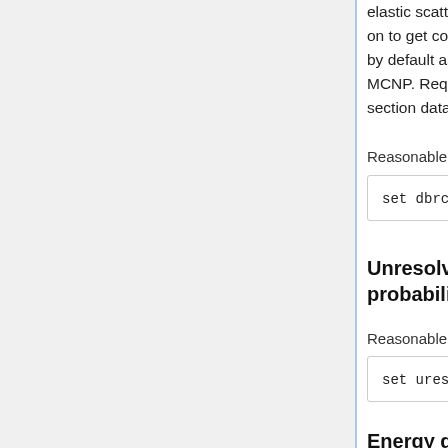elastic scattering reactions. Needs to be on to get correct results. It is switched off by default as that is the default also in MCNP. Requires zero Kelvin cross section data.
Reasonable default input:
set dbrc 0.1e-6 1e-3 92234.00c
Unresolved resonance probability table sampling
Reasonable default input:
set ures 1
Energy grid thinning